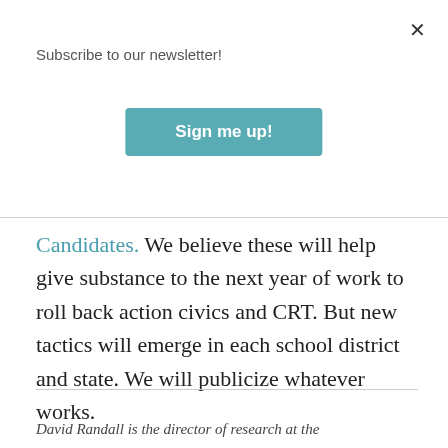Subscribe to our newsletter!
Sign me up!
Candidates. We believe these will help give substance to the next year of work to roll back action civics and CRT. But new tactics will emerge in each school district and state. We will publicize whatever works.
The early successes of civics reformers will provide a wonderful base for our efforts in the year to come. The battle is only beginning.
David Randall is the director of research at the